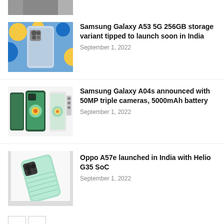[Figure (photo): Partial top of a smartphone image cropped at the top of the page]
[Figure (photo): Samsung Galaxy A53 5G in light blue color against floral background]
Samsung Galaxy A53 5G 256GB storage variant tipped to launch soon in India
September 1, 2022
[Figure (photo): Samsung Galaxy A04s shown from multiple angles in green and white]
Samsung Galaxy A04s announced with 50MP triple cameras, 5000mAh battery
September 1, 2022
[Figure (photo): Oppo A57e in mint/light green color]
Oppo A57e launched in India with Helio G35 SoC
September 1, 2022
LEAVE A REPLY